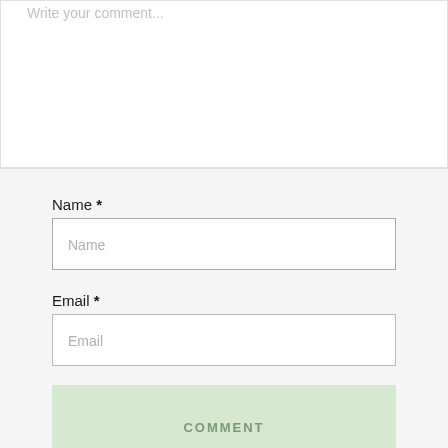Write your comment...
Name *
Name
Email *
Email
COMMENT